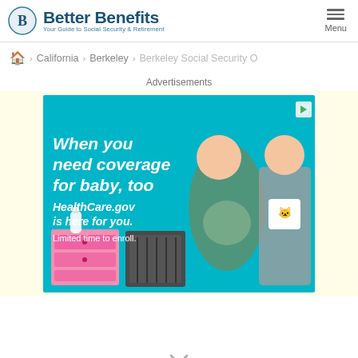[Figure (logo): Better Benefits logo with circular B icon and tagline 'Your Guide to Social Security & Retirement']
[Figure (other): Hamburger menu icon with 'Menu' label]
🏠 > California > Berkeley > Berkeley Social Security O
Advertisements
[Figure (photo): HealthCare.gov advertisement banner showing a pregnant woman and a man holding a baby onesie with text 'When you need coverage for baby, too. HealthCare.gov is here for you. Limited time to enroll.']